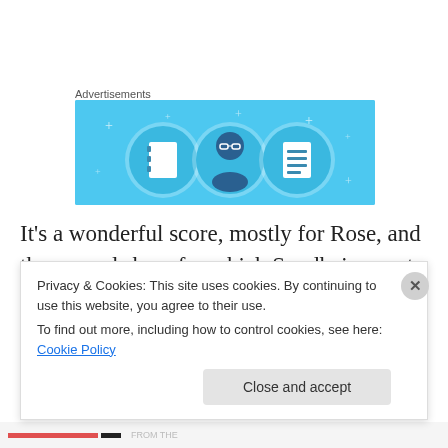Advertisements
[Figure (illustration): Advertisement banner with light blue background showing three circular icons: a notebook, a person with glasses, and a list/document icon, with small plus/star decorations.]
It’s a wonderful score, mostly for Rose, and the second show for which Sondheim wrote lyrics before doing both. It requires an actress of immense vocal and acting talent to pull it off and Joanna Riding does it brilliantly. In a career
Privacy & Cookies: This site uses cookies. By continuing to use this website, you agree to their use.
To find out more, including how to control cookies, see here: Cookie Policy
Close and accept